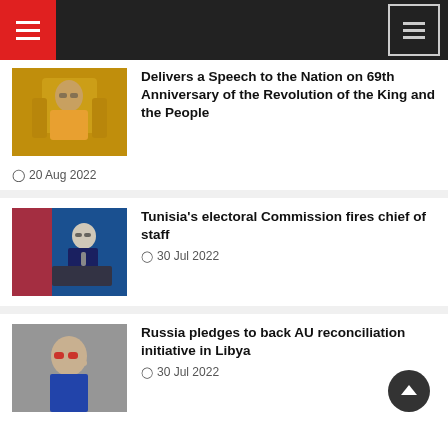Navigation header with hamburger menus
Delivers a Speech to the Nation on 69th Anniversary of the Revolution of the King and the People
20 Aug 2022
Tunisia's electoral Commission fires chief of staff
30 Jul 2022
Russia pledges to back AU reconciliation initiative in Libya
30 Jul 2022